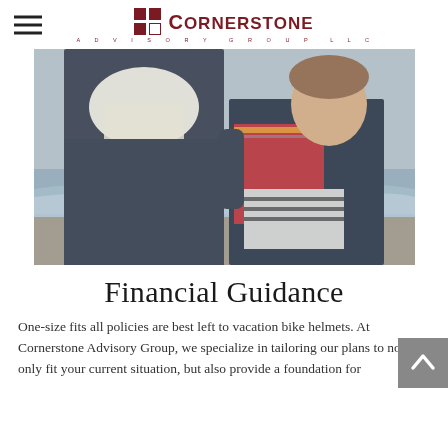Cornerstone Advisory Group LLC
[Figure (photo): Adult and child walking on a beach in winter, wearing scarves and warm clothing. The child is looking up at the adult.]
Financial Guidance
One-size fits all policies are best left to vacation bike helmets. At Cornerstone Advisory Group, we specialize in tailoring our plans to not only fit your current situation, but also provide a foundation for